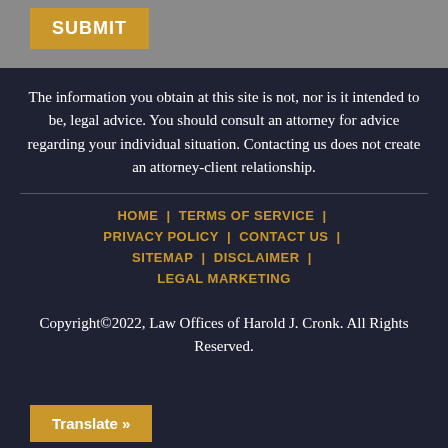SUBMIT
The information you obtain at this site is not, nor is it intended to be, legal advice. You should consult an attorney for advice regarding your individual situation. Contacting us does not create an attorney-client relationship.
HOME | TERMS OF SERVICE | PRIVACY POLICY | CONTACT US | SITEMAP | DISCLAIMER | LEGAL MARKETING
Copyright©2022, Law Offices of Harold J. Cronk. All Rights Reserved.
Translate »